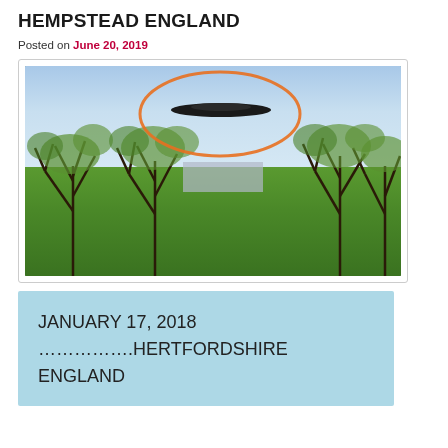HEMPSTEAD ENGLAND
Posted on June 20, 2019
[Figure (photo): Photograph of an orchard with trees and green grass. A dark disc-shaped object (UFO) is visible in the sky, circled in orange.]
JANUARY 17, 2018
…………….HERTFORDSHIRE ENGLAND